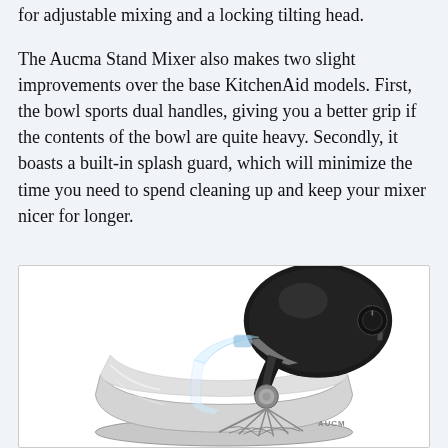for adjustable mixing and a locking tilting head.
The Aucma Stand Mixer also makes two slight improvements over the base KitchenAid models. First, the bowl sports dual handles, giving you a better grip if the contents of the bowl are quite heavy. Secondly, it boasts a built-in splash guard, which will minimize the time you need to spend cleaning up and keep your mixer nicer for longer.
[Figure (photo): Photo of a black Aucma stand mixer with a stainless steel bowl, wire whisk attachment, and clear splash guard, shown on a white background.]